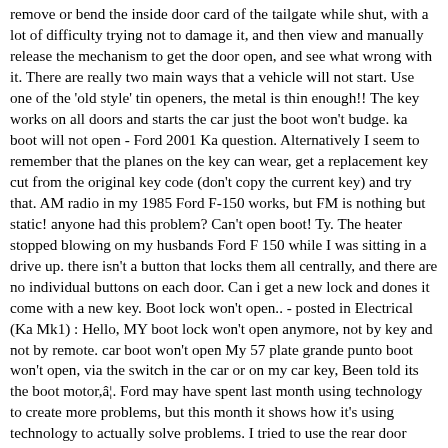remove or bend the inside door card of the tailgate while shut, with a lot of difficulty trying not to damage it, and then view and manually release the mechanism to get the door open, and see what wrong with it. There are really two main ways that a vehicle will not start. Use one of the 'old style' tin openers, the metal is thin enough!! The key works on all doors and starts the car just the boot won't budge. ka boot will not open - Ford 2001 Ka question. Alternatively I seem to remember that the planes on the key can wear, get a replacement key cut from the original key code (don't copy the current key) and try that. AM radio in my 1985 Ford F-150 works, but FM is nothing but static! anyone had this problem? Can't open boot! Ty. The heater stopped blowing on my husbands Ford F 150 while I was sitting in a drive up. there isn't a button that locks them all centrally, and there are no individual buttons on each door. Can i get a new lock and dones it come with a new key. Boot lock won't open.. - posted in Electrical (Ka Mk1) : Hello, MY boot lock won't open anymore, not by key and not by remote. car boot won't open My 57 plate grande punto boot won't open, via the switch in the car or on my car key, Been told its the boot motor,â¦. Ford may have spent last month using technology to create more problems, but this month it shows how it's using technology to actually solve problems. I tried to use the rear door manual lock and this wonâ€™t â¦ Thanks. Try cleaning the 4 sprung contacts that connect when the boot is closed, they're in the hinge side of the boot door. Ford Fiesta Classic There are a couple of common reasons for this: > You have activated central locking from inside (pushed lock handle). Brought a 98 regFord Ka it has come with only one key black with a red chip in corner but for some reason it won't open the boot any ideas? Last week, 3 weeks after warranty expired, the boot stopped working. I wonder how the...